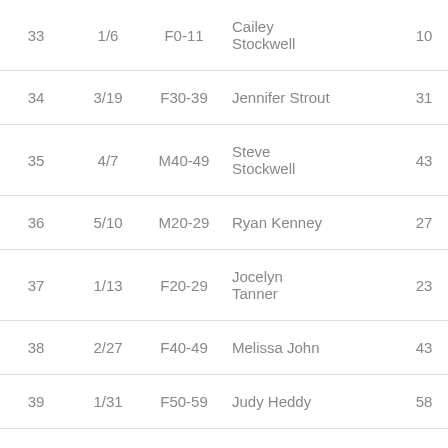| 33 | 1/6 | F0-11 | Cailey Stockwell | 10 |
| 34 | 3/19 | F30-39 | Jennifer Strout | 31 |
| 35 | 4/7 | M40-49 | Steve Stockwell | 43 |
| 36 | 5/10 | M20-29 | Ryan Kenney | 27 |
| 37 | 1/13 | F20-29 | Jocelyn Tanner | 23 |
| 38 | 2/27 | F40-49 | Melissa John | 43 |
| 39 | 1/31 | F50-59 | Judy Heddy | 58 |
| 40 | 5/7 | M40-49 | Roger ... | 49 |